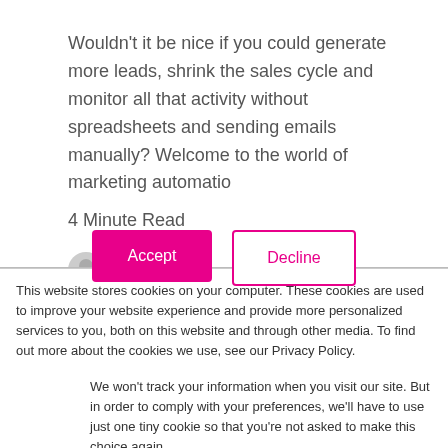Wouldn't it be nice if you could generate more leads, shrink the sales cycle and monitor all that activity without spreadsheets and sending emails manually? Welcome to the world of marketing automatio
4 Minute Read
This website stores cookies on your computer. These cookies are used to improve your website experience and provide more personalized services to you, both on this website and through other media. To find out more about the cookies we use, see our Privacy Policy.
We won't track your information when you visit our site. But in order to comply with your preferences, we'll have to use just one tiny cookie so that you're not asked to make this choice again.